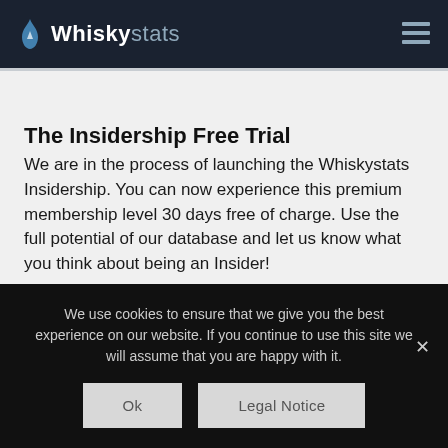WhiskyStats
The Insidership Free Trial
We are in the process of launching the Whiskystats Insidership. You can now experience this premium membership level 30 days free of charge. Use the full potential of our database and let us know what you think about being an Insider!
We use cookies to ensure that we give you the best experience on our website. If you continue to use this site we will assume that you are happy with it.